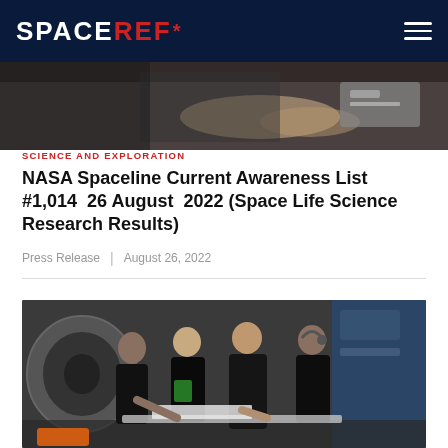SPACEREF*
[Figure (photo): Close-up photo of hands working with scientific equipment, partial view of arms and electronic hardware]
SCIENCE AND EXPLORATION
NASA Spaceline Current Awareness List #1,014  26 August  2022 (Space Life Science Research Results)
Press Release  |  August 26, 2022
[Figure (photo): Group of people in black shirts working together around a large centrifuge-like machine, looking at documents on a table, in a laboratory setting]